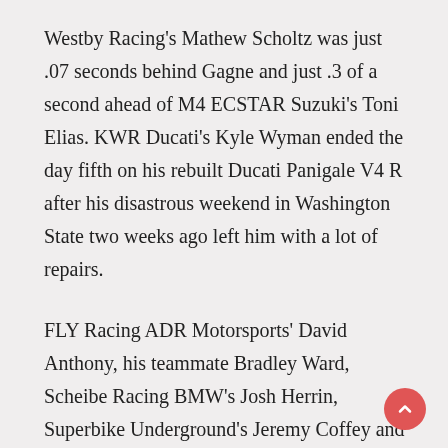Westby Racing's Mathew Scholtz was just .07 seconds behind Gagne and just .3 of a second ahead of M4 ECSTAR Suzuki's Toni Elias. KWR Ducati's Kyle Wyman ended the day fifth on his rebuilt Ducati Panigale V4 R after his disastrous weekend in Washington State two weeks ago left him with a lot of repairs.
FLY Racing ADR Motorsports' David Anthony, his teammate Bradley Ward, Scheibe Racing BMW's Josh Herrin, Superbike Underground's Jeremy Coffey and Thrashed Bike Racing's Max Flinders rounded out the top 10 from day one.